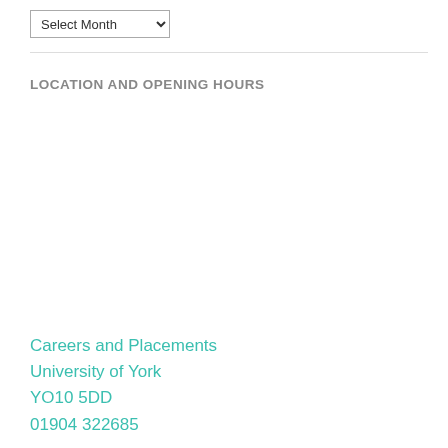[Figure (other): Dropdown select element labeled 'Select Month']
LOCATION AND OPENING HOURS
Careers and Placements
University of York
YO10 5DD
01904 322685